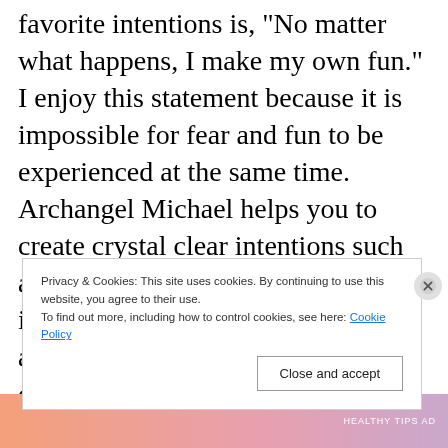favorite intentions is, "No matter what happens, I make my own fun." I enjoy this statement because it is impossible for fear and fun to be experienced at the same time.  Archangel Michael helps you to create crystal clear intentions such as these. Ask for his help in creating intentions that resonate with you and protect your energy. Speaking of protection, ask him to surround you with his royal blue/purple light and energy. Give
Privacy & Cookies: This site uses cookies. By continuing to use this website, you agree to their use. To find out more, including how to control cookies, see here: Cookie Policy
[Figure (illustration): Bottom strip showing a gradient image from orange to pink to purple, with small white text reading 'HEALTHY TIPS AD']